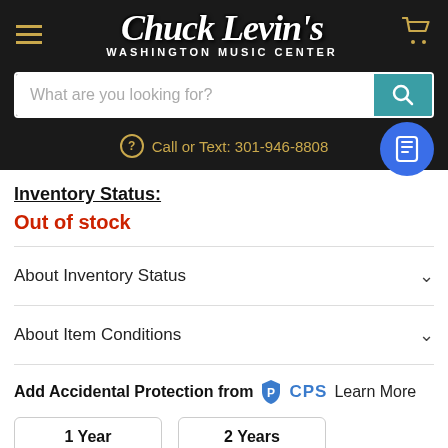[Figure (logo): Chuck Levin's Washington Music Center logo on dark background with hamburger menu and cart icon]
What are you looking for?
Call or Text: 301-946-8808
Inventory Status:
Out of stock
About Inventory Status
About Item Conditions
Add Accidental Protection from CPS Learn More
1 Year
2 Years